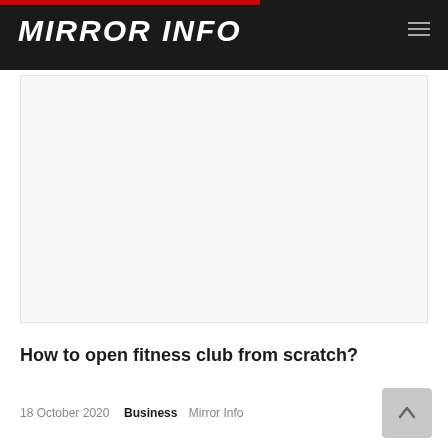MIRROR INFO
[Figure (other): Advertisement placeholder area (blank white/light gray box)]
How to open fitness club from scratch?
18 October 2020  Business  Mirror Info